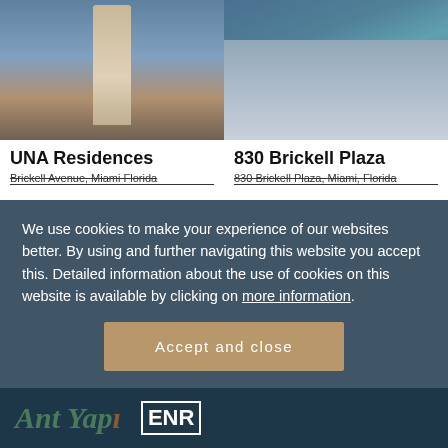[Figure (photo): Rendering of UNA Residences tower in Miami with water in foreground and sunset sky]
[Figure (photo): Aerial view of 830 Brickell Plaza and surrounding Miami skyline with Biscayne Bay]
UNA Residences
Brickell Avenue, Miami Florida
830 Brickell Plaza
830 Brickell Plaza, Miami, Florida
We use cookies to make your experience of our websites better. By using and further navigating this website you accept this. Detailed information about the use of cookies on this website is available by clicking on more information.
Accept and close
Ant Yapi
ENR